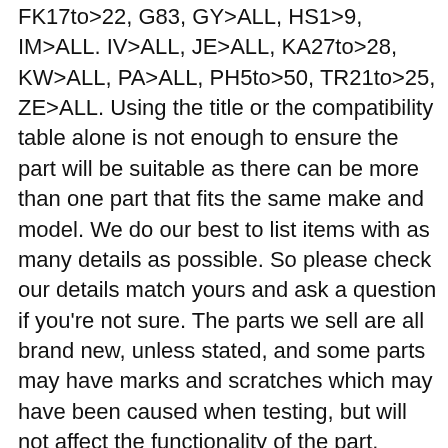FK17to>22, G83, GY>ALL, HS1>9, IM>ALL. IV>ALL, JE>ALL, KA27to>28, KW>ALL, PA>ALL, PH5to>50, TR21to>25, ZE>ALL. Using the title or the compatibility table alone is not enough to ensure the part will be suitable as there can be more than one part that fits the same make and model. We do our best to list items with as many details as possible. So please check our details match yours and ask a question if you're not sure. The parts we sell are all brand new, unless stated, and some parts may have marks and scratches which may have been caused when testing, but will not affect the functionality of the part. Please note, we are not held responsible forany lost items that have been dispatched with a non-tracked service, (includingitems lost Outside the UK). We encourage all buyers toselect a tracked service on checkout as we find these to be the most reliablemethods. Non-mainland UK addresses include thg: HIGHLANDS, IRELAND, CHANNEL ISLANDS, JERSEY, ISLE OF WIGHT, BFPO. And the following